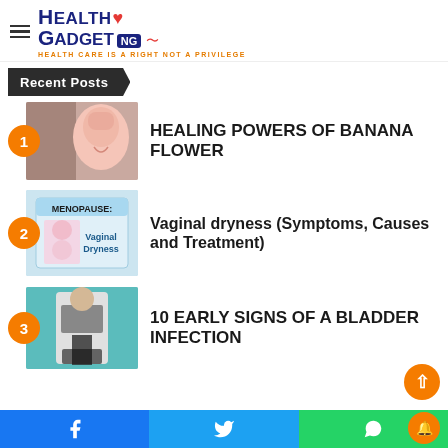HEALTH GADGET NG — Health Care Is A Right Not A Privilege
Recent Posts
HEALING POWERS OF BANANA FLOWER
Vaginal dryness (Symptoms, Causes and Treatment)
10 EARLY SIGNS OF A BLADDER INFECTION
Facebook | Twitter | WhatsApp